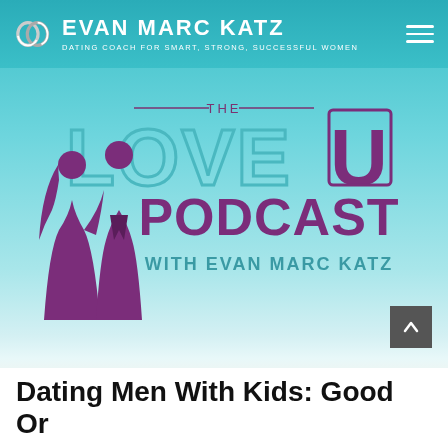EVAN MARC KATZ — DATING COACH FOR SMART, STRONG, SUCCESSFUL WOMEN
[Figure (logo): The Love U Podcast with Evan Marc Katz logo — features silhouettes of a couple (woman with long hair, man in suit) in purple/magenta on a teal/white gradient background, with stylized text 'THE LOVE U PODCAST WITH EVAN MARC KATZ']
Dating Men With Kids: Good Or